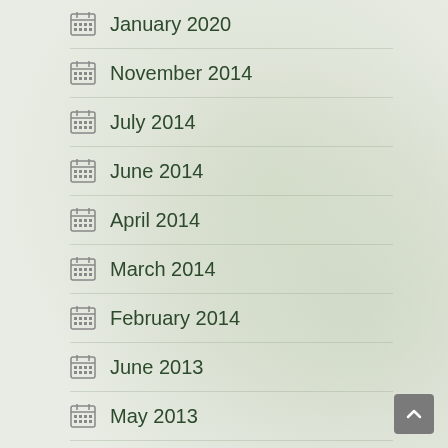January 2020
November 2014
July 2014
June 2014
April 2014
March 2014
February 2014
June 2013
May 2013
April 2013